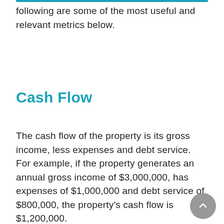following are some of the most useful and relevant metrics below.
Cash Flow
The cash flow of the property is its gross income, less expenses and debt service. For example, if the property generates an annual gross income of $3,000,000, has expenses of $1,000,000 and debt service of $800,000, the property's cash flow is $1,200,000.